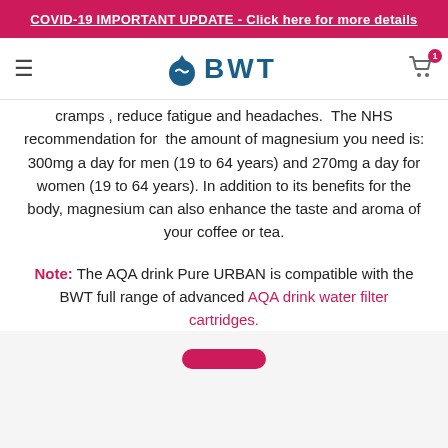COVID-19 IMPORTANT UPDATE - Click here for more details
[Figure (logo): BWT logo with droplet icon and BWT text in blue]
cramps , reduce fatigue and headaches.  The NHS recommendation for  the amount of magnesium you need is: 300mg a day for men (19 to 64 years) and 270mg a day for women (19 to 64 years). In addition to its benefits for the body, magnesium can also enhance the taste and aroma of your coffee or tea.
Note: The AQA drink Pure URBAN is compatible with the BWT full range of advanced AQA drink water filter cartridges.